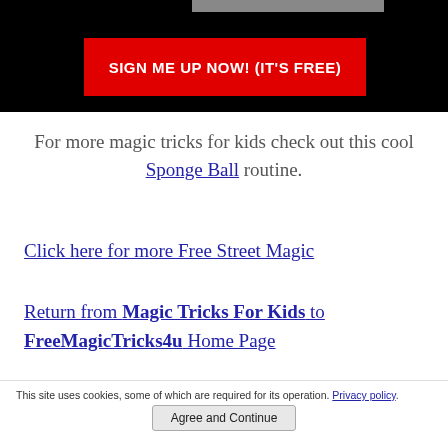[Figure (screenshot): Black banner with a red call-to-action button reading 'SIGN ME UP NOW! (IT'S FREE)']
For more magic tricks for kids check out this cool Sponge Ball routine.
Click here for more Free Street Magic
Return from Magic Tricks For Kids to FreeMagicTricks4u Home Page
This site uses cookies, some of which are required for its operation. Privacy policy